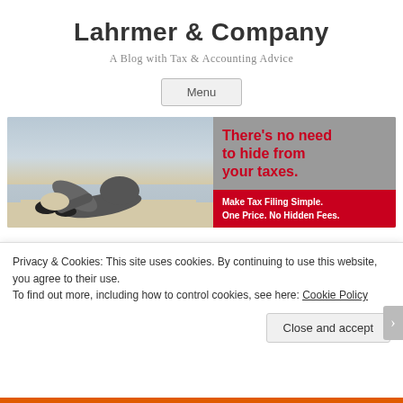Lahrmer & Company
A Blog with Tax & Accounting Advice
Menu
[Figure (illustration): Banner image showing a person hiding their head in sand on the left (black and white photo), and on the right a grey background with red text 'There's no need to hide from your taxes.' and a dark red banner saying 'Make Tax Filing Simple. One Price. No Hidden Fees.']
Privacy & Cookies: This site uses cookies. By continuing to use this website, you agree to their use.
To find out more, including how to control cookies, see here: Cookie Policy
Close and accept